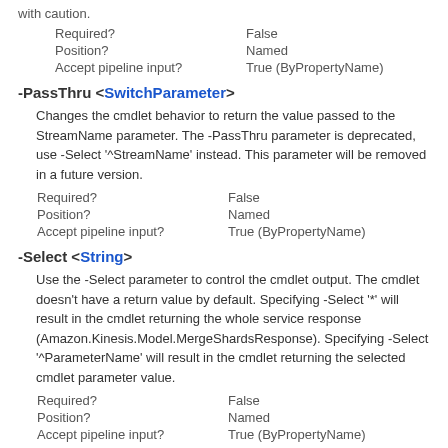with caution.
| Required? | False |
| Position? | Named |
| Accept pipeline input? | True (ByPropertyName) |
-PassThru <SwitchParameter>
Changes the cmdlet behavior to return the value passed to the StreamName parameter. The -PassThru parameter is deprecated, use -Select '^StreamName' instead. This parameter will be removed in a future version.
| Required? | False |
| Position? | Named |
| Accept pipeline input? | True (ByPropertyName) |
-Select <String>
Use the -Select parameter to control the cmdlet output. The cmdlet doesn't have a return value by default. Specifying -Select '*' will result in the cmdlet returning the whole service response (Amazon.Kinesis.Model.MergeShardsResponse). Specifying -Select '^ParameterName' will result in the cmdlet returning the selected cmdlet parameter value.
| Required? | False |
| Position? | Named |
| Accept pipeline input? | True (ByPropertyName) |